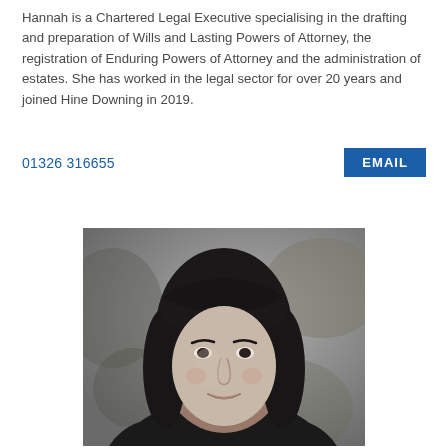Hannah is a Chartered Legal Executive specialising in the drafting and preparation of Wills and Lasting Powers of Attorney, the registration of Enduring Powers of Attorney and the administration of estates. She has worked in the legal sector for over 20 years and joined Hine Downing in 2019.
01326 316655
EMAIL
[Figure (photo): Black and white professional headshot portrait of a woman with long dark hair and bangs, smiling slightly, wearing dark clothing, with a blurred outdoor background.]